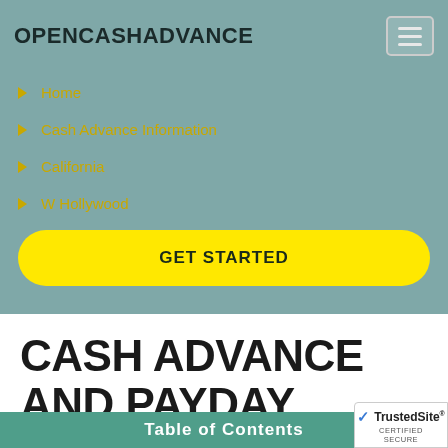OPENCASHADVANCE
Home
Cash Advance Information
California
W Hollywood
GET STARTED
CASH ADVANCE AND PAYDAY LOANS IN W HOLLYWOOD, CA
Table of Contents